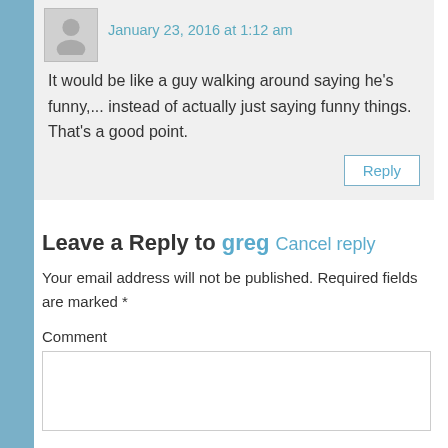January 23, 2016 at 1:12 am
It would be like a guy walking around saying he’s funny,... instead of actually just saying funny things. That’s a good point.
Reply
Leave a Reply to greg Cancel reply
Your email address will not be published. Required fields are marked *
Comment